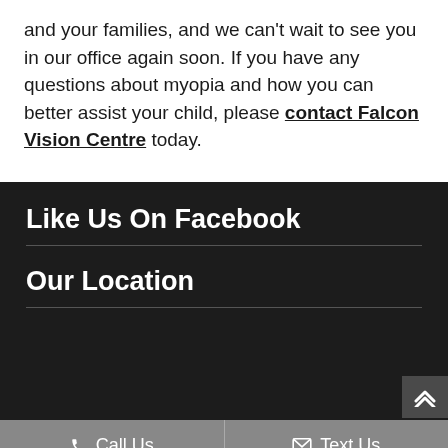and your families, and we can't wait to see you in our office again soon. If you have any questions about myopia and how you can better assist your child, please contact Falcon Vision Centre today.
Like Us On Facebook
Our Location
Call Us   Text Us